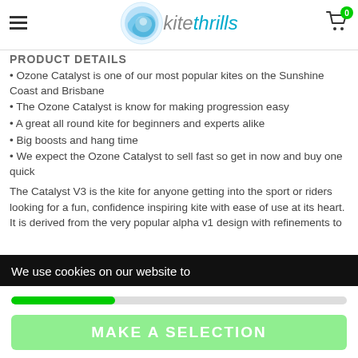kitethrills - product details page header with logo and cart
PRODUCT DETAILS
• Ozone Catalyst is one of our most popular kites on the Sunshine Coast and Brisbane
• The Ozone Catalyst is know for making progression easy
• A great all round kite for beginners and experts alike
• Big boosts and hang time
• We expect the Ozone Catalyst to sell fast so get in now and buy one quick
The Catalyst V3 is the kite for anyone getting into the sport or riders looking for a fun, confidence inspiring kite with ease of use at its heart. It is derived from the very popular alpha v1 design with refinements to enhance
We use cookies on our website to
MAKE A SELECTION